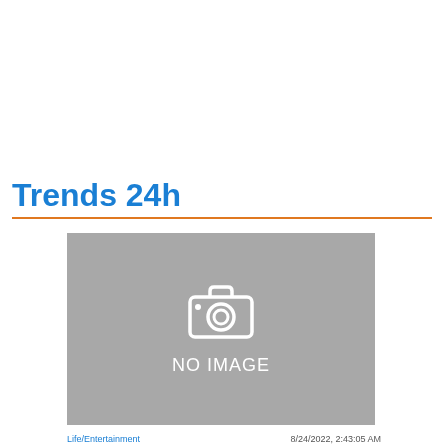Trends 24h
[Figure (photo): No image placeholder with camera icon and 'NO IMAGE' text on grey background]
Life/Entertainment  8/24/2022, 2:43:05 AM